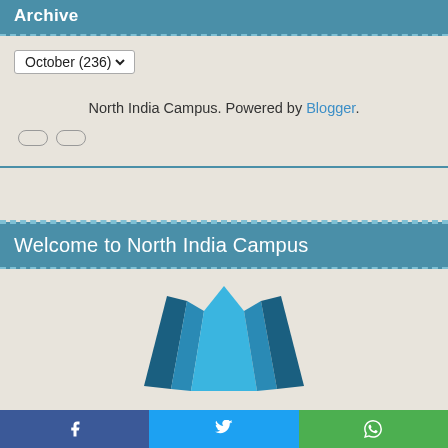Archive
October (236)
North India Campus. Powered by Blogger.
[Figure (other): Two oval/pill shaped icons in a row]
Welcome to North India Campus
[Figure (logo): North India Campus logo: stylized open book with blue and dark blue pages]
[Figure (other): Bottom social share bar with Facebook, Twitter, and WhatsApp icons]